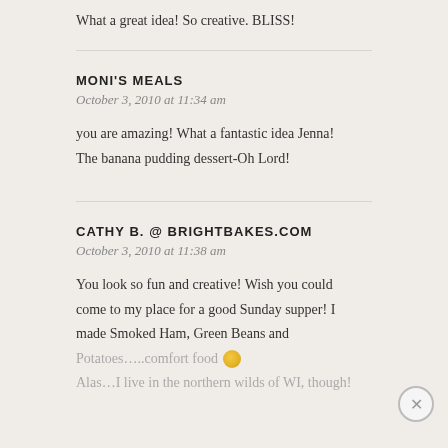What a great idea! So creative. BLISS!
MONI'S MEALS
October 3, 2010 at 11:34 am
you are amazing! What a fantastic idea Jenna! The banana pudding dessert-Oh Lord!
CATHY B. @ BRIGHTBAKES.COM
October 3, 2010 at 11:38 am
You look so fun and creative! Wish you could come to my place for a good Sunday supper! I made Smoked Ham, Green Beans and Potatoes…..comfort food 🙂 Alas…I live in the northern wilds of WI, though!